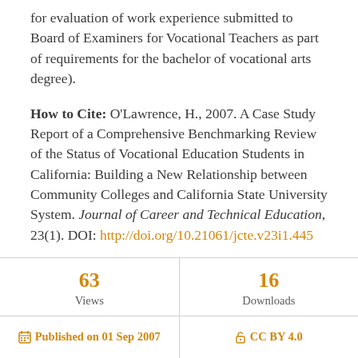for evaluation of work experience submitted to Board of Examiners for Vocational Teachers as part of requirements for the bachelor of vocational arts degree).
How to Cite: O'Lawrence, H., 2007. A Case Study Report of a Comprehensive Benchmarking Review of the Status of Vocational Education Students in California: Building a New Relationship between Community Colleges and California State University System. Journal of Career and Technical Education, 23(1). DOI: http://doi.org/10.21061/jcte.v23i1.445
| Views | Downloads |
| --- | --- |
| 63 | 16 |
Published on 01 Sep 2007   CC BY 4.0